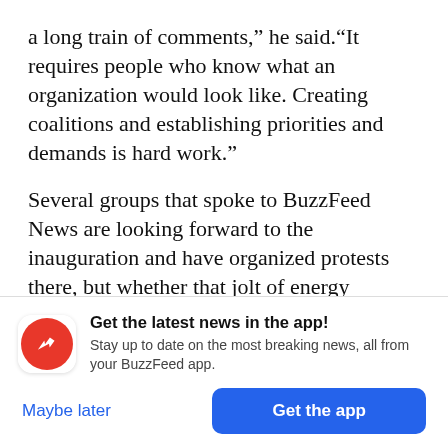a long train of comments,” he said.“It requires people who know what an organization would look like. Creating coalitions and establishing priorities and demands is hard work.”
Several groups that spoke to BuzzFeed News are looking forward to the inauguration and have organized protests there, but whether that jolt of energy congeals into a movement remains to be seen. Their first barrier will be uniting around a common ideology and list of demands.
[Figure (infographic): BuzzFeed app notification banner with red circular BuzzFeed logo (white trending arrow), headline 'Get the latest news in the app!', subtext 'Stay up to date on the most breaking news, all from your BuzzFeed app.', with 'Maybe later' (blue text) and 'Get the app' (blue button) options.]